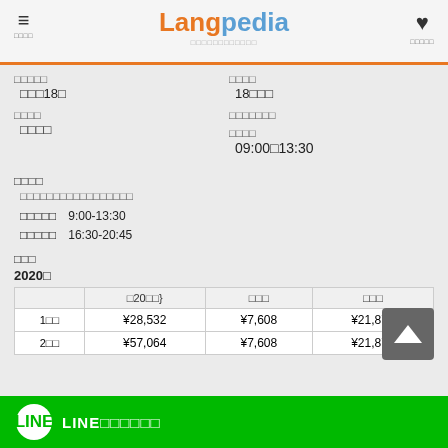Langpedia
□□□□□ □□□□
□□□18□ 18□□□
□□□□ □□□□□□□
□□□□ □□□□
09:00□13:30
□□□□
□□□□□□□□□□□□□□□□□
□□□□□ 9:00-13:30
□□□□□ 16:30-20:45
□□□
2020□
|  | □20□□} | □□□ | □□□ |
| --- | --- | --- | --- |
| 1□□ | ¥28,532 | ¥7,608 | ¥21,874 |
| 2□□ | ¥57,064 | ¥7,608 | ¥21,874 |
LINE□□□□□□